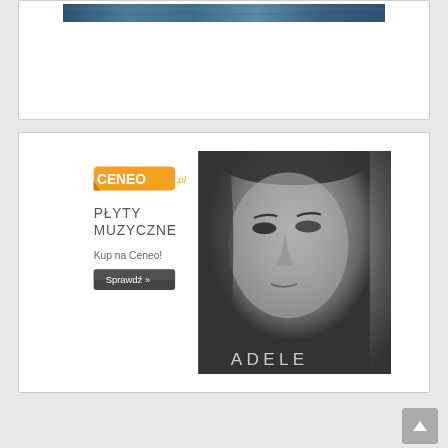[Figure (screenshot): Top card with a dark blue image strip at the top, partial view of a website screenshot]
[Figure (photo): Ceneo.pl advertisement banner featuring the Ceneo logo in orange, text 'PŁYTY MUZYCZNE Kup na Ceneo! Sprawdź »' on white background on left side, and a black-and-white close-up photo of Adele's face on the right side with 'ADELE' text at bottom right]